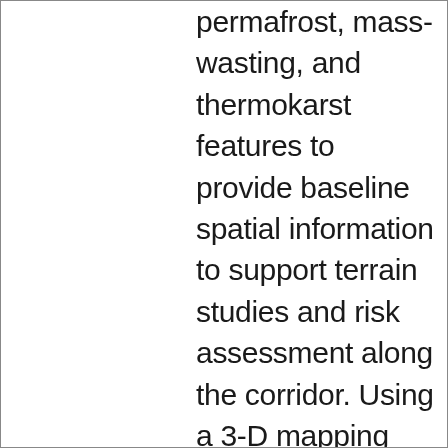permafrost, mass-wasting, and thermokarst features to provide baseline spatial information to support terrain studies and risk assessment along the corridor. Using a 3-D mapping approach that combines high-resolution satellite imagery and elevation data, geomorphological features related to periglacial, hydrological, and mass movement